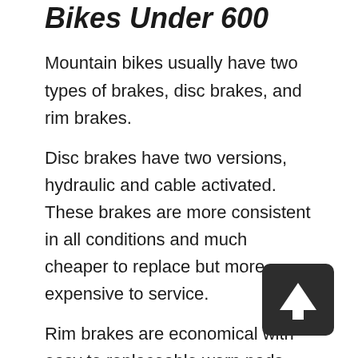Brake Style of the Best Mountain Bikes Under 600
Mountain bikes usually have two types of brakes, disc brakes, and rim brakes.
Disc brakes have two versions, hydraulic and cable activated. These brakes are more consistent in all conditions and much cheaper to replace but more expensive to service.
Rim brakes are economical with easy to replaceable worn pads, but they require more finger effort and less efficient in wet or muddy conditions.
Gears Of Mountain Bike